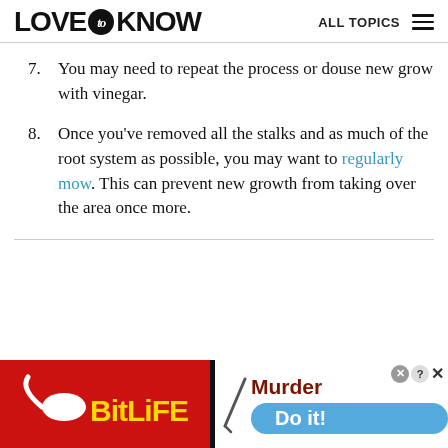LOVE to KNOW | ALL TOPICS
7. You may need to repeat the process or douse new grow with vinegar.
8. Once you've removed all the stalks and as much of the root system as possible, you may want to regularly mow. This can prevent new growth from taking over the area once more.
[Figure (screenshot): Advertisement banner at bottom: BitLife game ad on left (red background) and Murder/Do it! game ad on right (white background with blue button).]